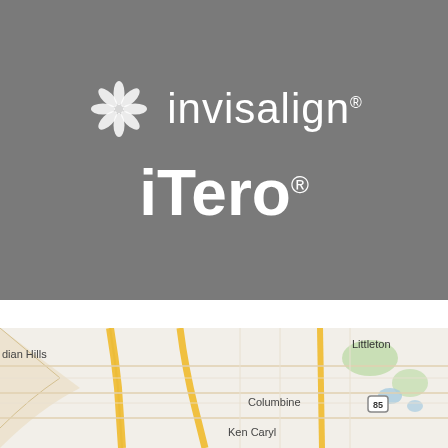[Figure (logo): Invisalign logo with snowflake/star icon and 'invisalign' wordmark in white on grey background, followed by 'iTero' brand name in large white bold text on grey background]
[Figure (map): Partial Google Maps view showing Littleton, Columbine, Ken Caryl, Indian Hills area near Denver, Colorado with road network visible]